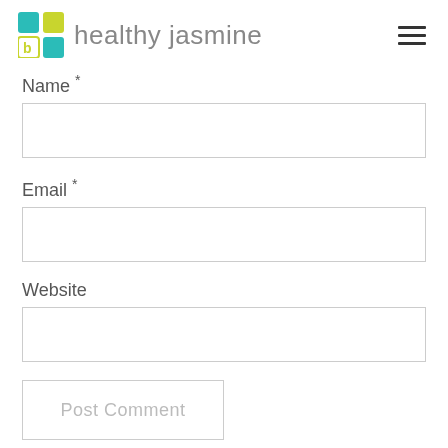[Figure (logo): Healthy Jasmine logo with colored grid squares (teal, yellow-green, teal, light teal) and text 'healthy jasmine' in gray]
Name *
Email *
Website
Post Comment